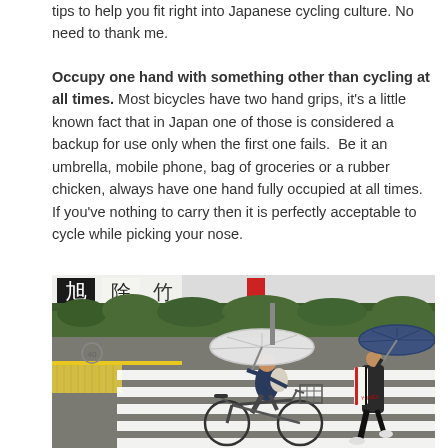tips to help you fit right into Japanese cycling culture. No need to thank me.
Occupy one hand with something other than cycling at all times. Most bicycles have two hand grips, it's a little known fact that in Japan one of those is considered a backup for use only when the first one fails. Be it an umbrella, mobile phone, bag of groceries or a rubber chicken, always have one hand fully occupied at all times. If you've nothing to carry then it is perfectly acceptable to cycle while picking your nose.
[Figure (photo): A person cycling on a crosswalk/zebra crossing in Japan, holding an open white umbrella with one hand while riding. Behind them is another person with a dark blue umbrella and a sports bag (Yonex branded). Japanese shop banners are visible in the background along with green hedges. The bicycle has a front basket. There is a tactile paving strip visible on the left side of the crosswalk.]